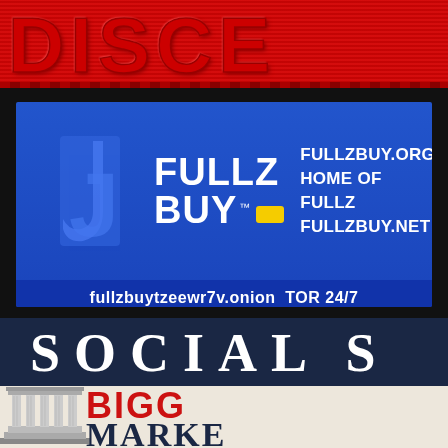[Figure (illustration): Top red banner with large bold text (partially visible, cut off)]
[Figure (illustration): Advertisement banner for FULLZBUY. Blue background with logo 'FULLZ BUY' with yellow price tag icon. Right side text: FULLZBUY.ORG HOME OF FULLZ FULLZBUY.NET. Bottom bar: fullzbuytzeewr7v.onion TOR 24/7]
[Figure (illustration): Lower dark navy section showing 'SOCIAL S' text (partially cut off) above a lighter section showing 'BIGG' in red and 'MARKE' in navy (both partially cut off), with a classical column architectural illustration on the left]